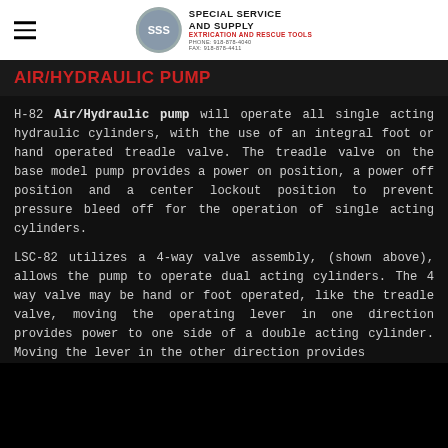Special Service and Supply — Extrication and Rescue Tools
AIR/HYDRAULIC PUMP
H-82 Air/Hydraulic pump will operate all single acting hydraulic cylinders, with the use of an integral foot or hand operated treadle valve. The treadle valve on the base model pump provides a power on position, a power off position and a center lockout position to prevent pressure bleed off for the operation of single acting cylinders.
LSC-82 utilizes a 4-way valve assembly, (shown above), allows the pump to operate dual acting cylinders. The 4 way valve may be hand or foot operated, like the treadle valve, moving the operating lever in one direction provides power to one side of a double acting cylinder. Moving the lever in the other direction provides